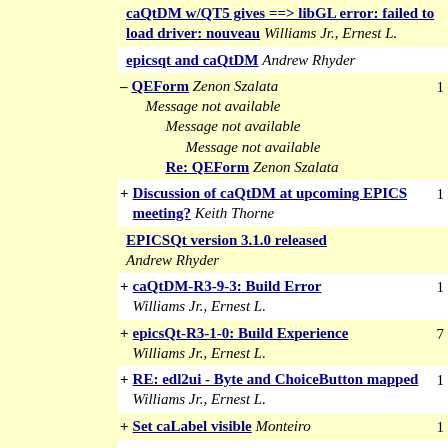caQtDM w/QT5 gives ==> libGL error: failed to load driver: nouveau  Williams Jr., Ernest L.
epicsqt and caQtDM  Andrew Rhyder
– QEForm  Zenon Szalata  [1] Message not available, Message not available, Message not available, Re: QEForm  Zenon Szalata
+ Discussion of caQtDM at upcoming EPICS meeting?  Keith Thorne  [1]
EPICSQt version 3.1.0 released  Andrew Rhyder
+ caQtDM-R3-9-3: Build Error  Williams Jr., Ernest L.  [1]
+ epicsQt-R3-1-0: Build Experience  Williams Jr., Ernest L.  [7]
+ RE: edl2ui - Byte and ChoiceButton mapped  Williams Jr., Ernest L.  [1]
+ Set caLabel visible  Monteiro  [1]